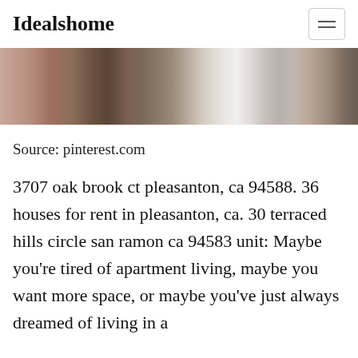Idealshome
[Figure (photo): Partial interior home photo showing furniture and decor, cropped at top of page]
Source: pinterest.com
3707 oak brook ct pleasanton, ca 94588. 36 houses for rent in pleasanton, ca. 30 terraced hills circle san ramon ca 94583 unit: Maybe you're tired of apartment living, maybe you want more space, or maybe you've just always dreamed of living in a